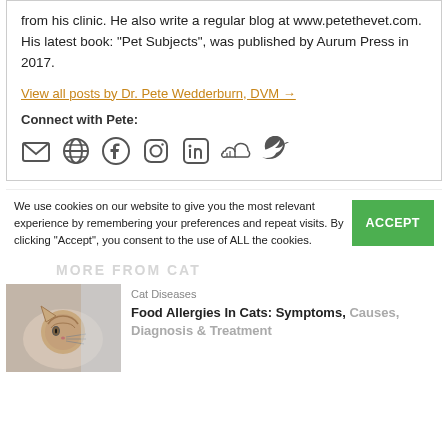from his clinic. He also write a regular blog at www.petethevet.com. His latest book: "Pet Subjects", was published by Aurum Press in 2017.
View all posts by Dr. Pete Wedderburn, DVM →
Connect with Pete:
[Figure (other): Social media icons: email, globe, Facebook, Instagram, LinkedIn, SoundCloud, Twitter]
We use cookies on our website to give you the most relevant experience by remembering your preferences and repeat visits. By clicking "Accept", you consent to the use of ALL the cookies.
ACCEPT
MORE FROM CAT
[Figure (photo): Photo of a cat lying down, brownish tabby, resting on a white surface]
Cat Diseases
Food Allergies In Cats: Symptoms, Causes, Diagnosis & Treatment